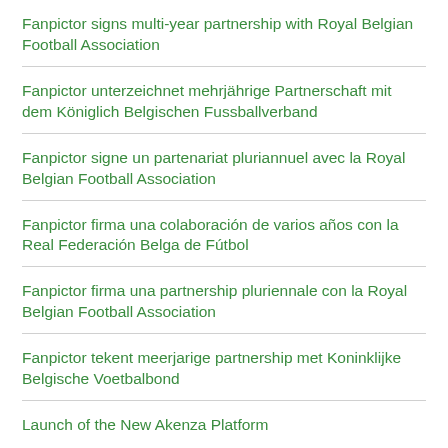Fanpictor signs multi-year partnership with Royal Belgian Football Association
Fanpictor unterzeichnet mehrjährige Partnerschaft mit dem Königlich Belgischen Fussballverband
Fanpictor signe un partenariat pluriannuel avec la Royal Belgian Football Association
Fanpictor firma una colaboración de varios años con la Real Federación Belga de Fútbol
Fanpictor firma una partnership pluriennale con la Royal Belgian Football Association
Fanpictor tekent meerjarige partnership met Koninklijke Belgische Voetbalbond
Launch of the New Akenza Platform